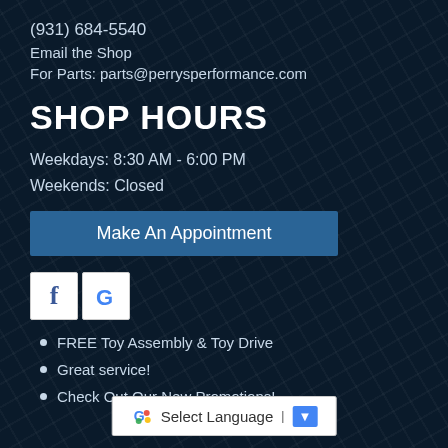(931) 684-5540
Email the Shop
For Parts: parts@perrysperformance.com
SHOP HOURS
Weekdays:  8:30 AM - 6:00 PM
Weekends:  Closed
Make An Appointment
[Figure (logo): Facebook and Google social media icons (white square backgrounds with f and G logos)]
FREE Toy Assembly & Toy Drive
Great service!
Check Out Our New Promotions!
Select Language ▼